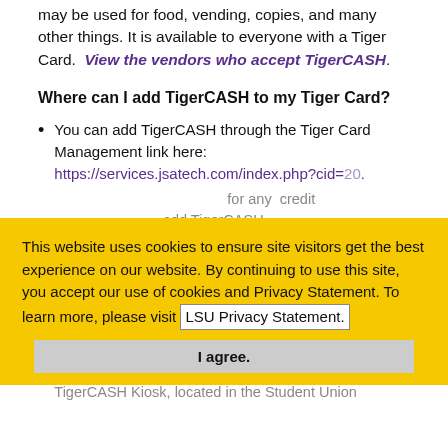TigerCASH is a campus-wide debit system that may be used for food, vending, copies, and many other things. It is available to everyone with a Tiger Card.  View the vendors who accept TigerCASH.
Where can I add TigerCASH to my Tiger Card?
You can add TigerCASH through the Tiger Card Management link here: https://services.jsatech.com/index.php?cid=20. This accepts credit card payments for any amount. You can also add TigerCASH accessible with no restrictions through myLSU. Go to Student Information Services at the bottom of the page. Click Additional Services and click View Options at the right. Add the amount you wish to add to TigerCASH, then enter 3001 as the code.
This website uses cookies to ensure site visitors get the best experience on our website. By continuing to use this site, you accept our use of cookies and Privacy Statement. To learn more, please visit LSU Privacy Statement.
You can add TigerCASH in person through a TigerCASH Kiosk, located in the Student Union